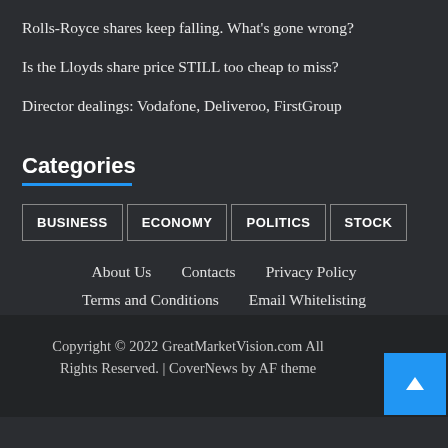Rolls-Royce shares keep falling. What's gone wrong?
Is the Lloyds share price STILL too cheap to miss?
Director dealings: Vodafone, Deliveroo, FirstGroup
Categories
BUSINESS
ECONOMY
POLITICS
STOCK
About Us  Contacts  Privacy Policy  Terms and Conditions  Email Whitelisting
Copyright © 2022 GreatMarketVision.com All Rights Reserved. | CoverNews by AF theme